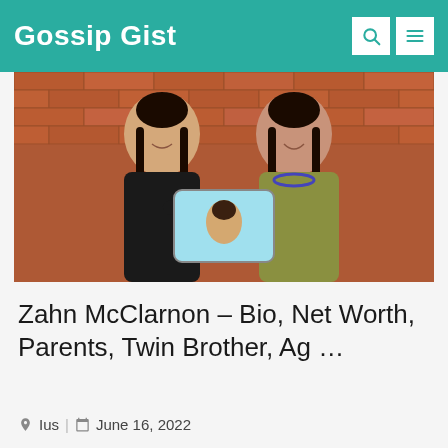Gossip Gist
[Figure (photo): Two people standing in front of a brick wall. The person on the left wears a black shirt with braided hair and holds a tablet/ID card displaying a face photo. The person on the right wears a floral/patterned olive green dress with braided hair and a beaded necklace, also pointing to the tablet.]
Zahn McClarnon - Bio, Net Worth, Parents, Twin Brother, Ag ...
Ius | June 16, 2022